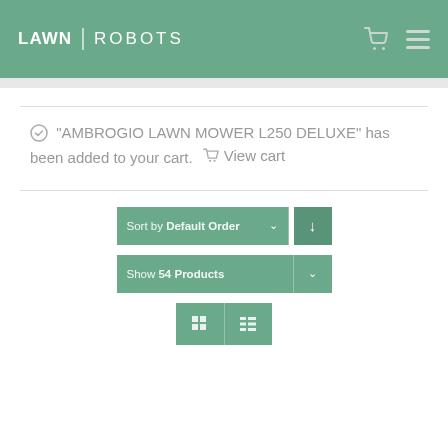LAWN | ROBOTS
"AMBROGIO LAWN MOWER L250 DELUXE" has been added to your cart. View cart